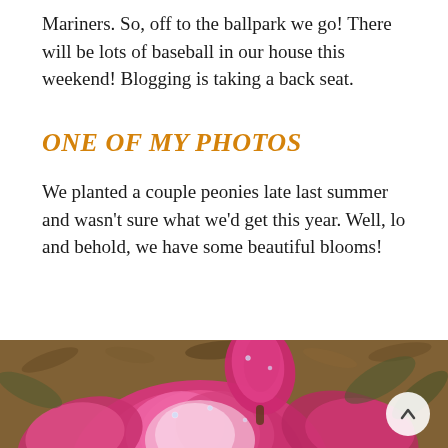Mariners. So, off to the ballpark we go! There will be lots of baseball in our house this weekend! Blogging is taking a back seat.
ONE OF MY PHOTOS
We planted a couple peonies late last summer and wasn't sure what we'd get this year. Well, lo and behold, we have some beautiful blooms!
[Figure (photo): Close-up photograph of blooming pink peony flowers with water droplets, with a bud visible above, set against a mulch background. A circular scroll-to-top button is visible in the lower right corner.]